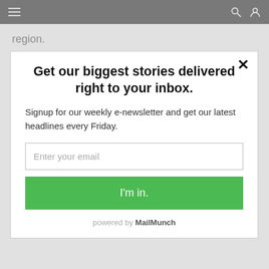≡  [search icon] [user icon]
region.
Abbey Hayward has no intention of trying to stop the
Get our biggest stories delivered right to your inbox.
Signup for our weekly e-newsletter and get our latest headlines every Friday.
Enter your email
I'm in.
powered by MailMunch